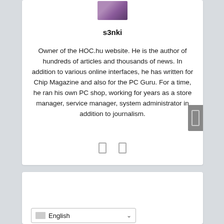[Figure (photo): Avatar/profile photo thumbnail with purple/pink tones]
s3nki
Owner of the HOC.hu website. He is the author of hundreds of articles and thousands of news. In addition to various online interfaces, he has written for Chip Magazine and also for the PC Guru. For a time, he ran his own PC shop, working for years as a store manager, service manager, system administrator in addition to journalism.
[Figure (other): Two small social media icon rectangles (share/contact icons)]
[Figure (other): Language selector dropdown showing English with flag icon]